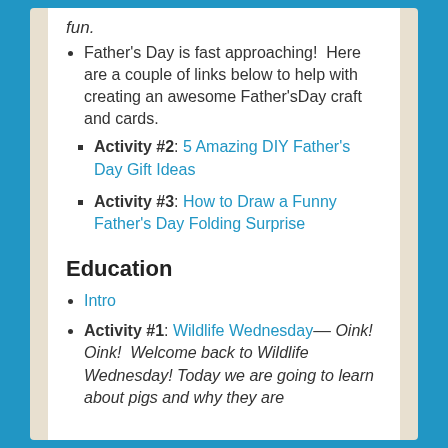fun.
Father's Day is fast approaching! Here are a couple of links below to help with creating an awesome Father'sDay craft and cards.
Activity #2: 5 Amazing DIY Father's Day Gift Ideas
Activity #3: How to Draw a Funny Father's Day Folding Surprise
Education
Intro
Activity #1: Wildlife Wednesday–– Oink! Oink! Welcome back to Wildlife Wednesday! Today we are going to learn about pigs and why they are